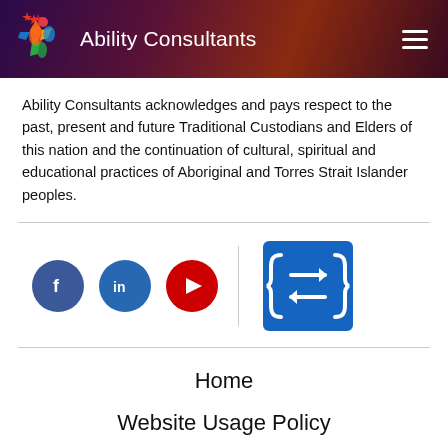Ability Consultants
Ability Consultants acknowledges and pays respect to the past, present and future Traditional Custodians and Elders of this nation and the continuation of cultural, spiritual and educational practices of Aboriginal and Torres Strait Islander peoples.
[Figure (logo): Social media icons: Facebook (blue circle with f), LinkedIn (blue circle with in), YouTube (red circle with play button), vertical divider, NDIS logo (blue square with stylized arrows)]
Home
Website Usage Policy